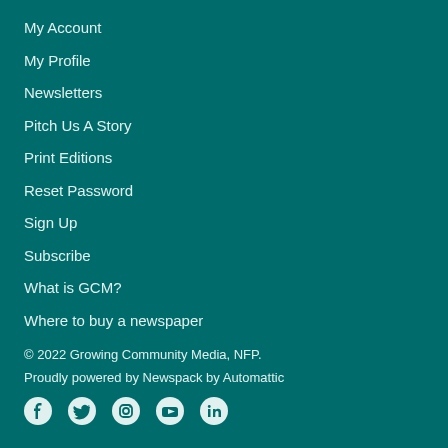My Account
My Profile
Newsletters
Pitch Us A Story
Print Editions
Reset Password
Sign Up
Subscribe
What is GCM?
Where to buy a newspaper
© 2022 Growing Community Media, NFP.
Proudly powered by Newspack by Automattic
[Figure (other): Social media icons: Facebook, Twitter, Instagram, YouTube, LinkedIn]